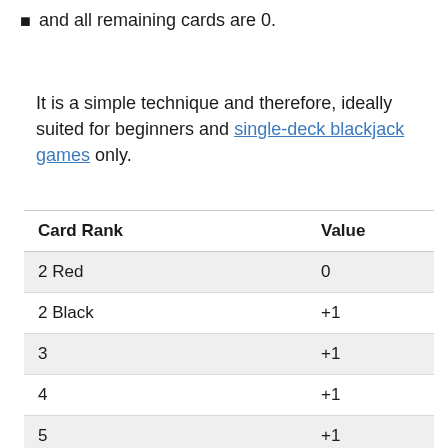and all remaining cards are 0.
It is a simple technique and therefore, ideally suited for beginners and single-deck blackjack games only.
| Card Rank | Value |
| --- | --- |
| 2 Red | 0 |
| 2 Black | +1 |
| 3 | +1 |
| 4 | +1 |
| 5 | +1 |
| 6 | +1 |